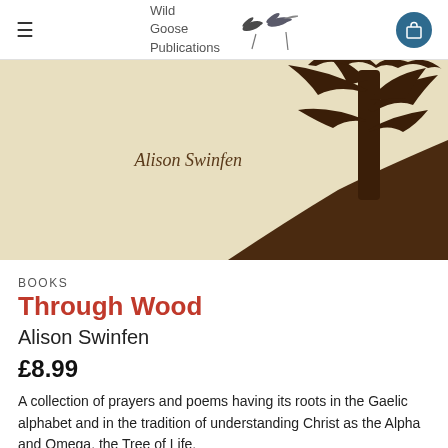Wild Goose Publications
[Figure (illustration): Book cover image for 'Through Wood' by Alison Swinfen — beige/cream background with dark brown tree silhouette on the right, author name 'Alison Swinfen' in brown italic text on the left]
BOOKS
Through Wood
Alison Swinfen
£8.99
A collection of prayers and poems having its roots in the Gaelic alphabet and in the tradition of understanding Christ as the Alpha and Omega, the Tree of Life.